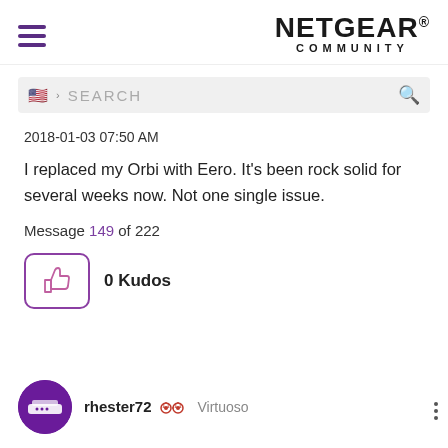NETGEAR COMMUNITY
2018-01-03 07:50 AM
I replaced my Orbi with Eero. It's been rock solid for several weeks now. Not one single issue.
Message 149 of 222
0 Kudos
rhester72 Virtuoso